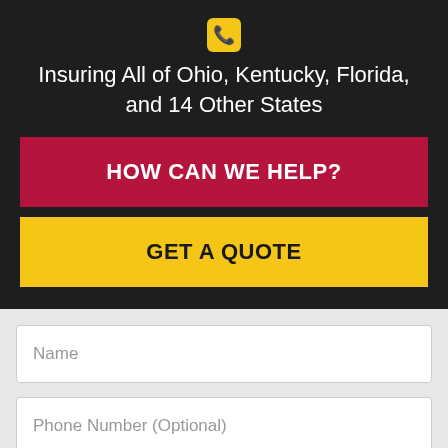[Figure (illustration): Yellow phone icon on dark background]
Insuring All of Ohio, Kentucky, Florida, and 14 Other States
HOW CAN WE HELP?
GET A QUOTE
Name
Phone Number (Optional)
Email